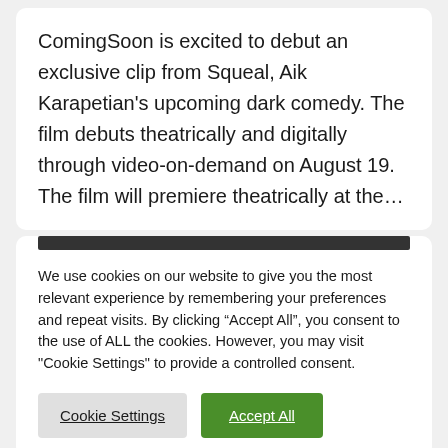ComingSoon is excited to debut an exclusive clip from Squeal, Aik Karapetian’s upcoming dark comedy. The film debuts theatrically and digitally through video-on-demand on August 19. The film will premiere theatrically at the…
We use cookies on our website to give you the most relevant experience by remembering your preferences and repeat visits. By clicking “Accept All”, you consent to the use of ALL the cookies. However, you may visit "Cookie Settings" to provide a controlled consent.